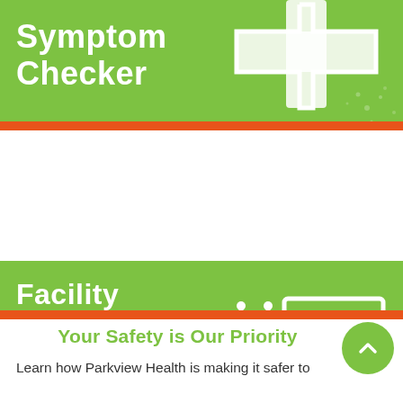[Figure (infographic): Green banner with white text 'Symptom Checker' and a white medical cross plus icon on the right side with decorative virus/germ pattern]
[Figure (infographic): Green banner with white text 'Facility & Service Updates' and a white stethoscope icon next to a white square H (hospital) icon]
Your Safety is Our Priority
Learn how Parkview Health is making it safer to